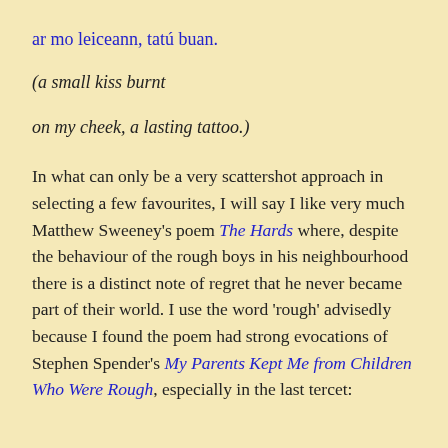ar mo leiceann, tatú buan.
(a small kiss burnt
on my cheek, a lasting tattoo.)
In what can only be a very scattershot approach in selecting a few favourites, I will say I like very much Matthew Sweeney’s poem The Hards where, despite the behaviour of the rough boys in his neighbourhood there is a distinct note of regret that he never became part of their world. I use the word ‘rough’ advisedly because I found the poem had strong evocations of Stephen Spender’s My Parents Kept Me from Children Who Were Rough, especially in the last tercet: